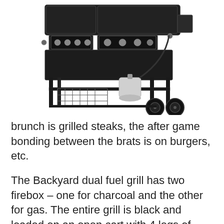[Figure (photo): A large black dual fuel grill on an open cart with four legs, two large wheels, two control panels with knobs, a lower shelf with a wire rack, and a propane tank visible beneath the grill body.]
brunch is grilled steaks, the after game bonding between the brats is on burgers, etc.
The Backyard dual fuel grill has two firebox – one for charcoal and the other for gas. The entire grill is black and loaded on an open cart with 4 legs of which two have wheels. The lower shelf has a lower